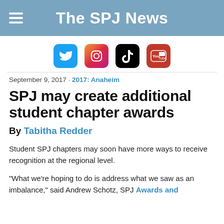The SPJ News
[Figure (logo): Social media icons: Twitter, Instagram, TikTok, YouTube]
September 9, 2017 · 2017: Anaheim
SPJ may create additional student chapter awards
By Tabitha Redder
Student SPJ chapters may soon have more ways to receive recognition at the regional level.
“What we’re hoping to do is address what we saw as an imbalance,” said Andrew Schotz, SPJ Awards and